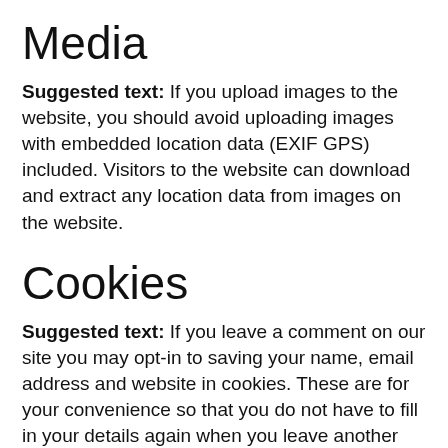Media
Suggested text: If you upload images to the website, you should avoid uploading images with embedded location data (EXIF GPS) included. Visitors to the website can download and extract any location data from images on the website.
Cookies
Suggested text: If you leave a comment on our site you may opt-in to saving your name, email address and website in cookies. These are for your convenience so that you do not have to fill in your details again when you leave another comment. These cookies will last for one year.